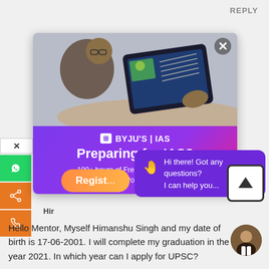REPLY
[Figure (screenshot): BYJU'S IAS advertisement popup showing a person studying on a tablet, with banner text 'Preparing for IAS? 100+ hours of Free Prep Material on History, Polity & more!' and a Register button]
[Figure (screenshot): Chat popup with waving hand emoji saying 'Hi there! Got any questions? I can help you...']
Hir
Hello Mentor, Myself Himanshu Singh and my date of birth is 17-06-2001. I will complete my graduation in the year 2021. In which year can I apply for UPSC?